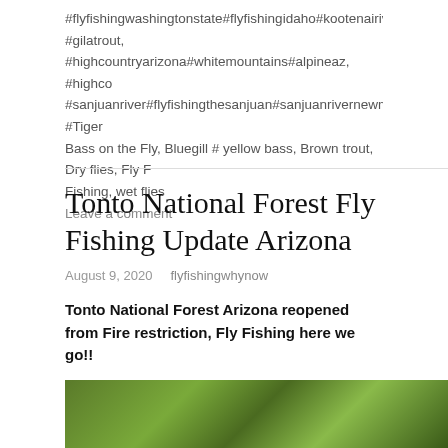#flyfishingwashingtonstate#flyfishingidaho#kootenairiver#littlenor #gilatrout, #highcountryarizona#whitemountains#alpineaz, #highco #sanjuanriver#flyfishingthesanjuan#sanjuanrivernewmexico, #Tiger Bass on the Fly, Bluegill # yellow bass, Brown trout, Dry flies, Fly F Fishing, wet flies
Leave a comment
Tonto National Forest Fly Fishing Update Arizona
August 9, 2020    flyfishingwhynow
Tonto National Forest Arizona reopened from Fire restriction, Fly Fishing here we go!!
[Figure (photo): Photo of trees/forest with green foliage, partially visible at bottom of page]